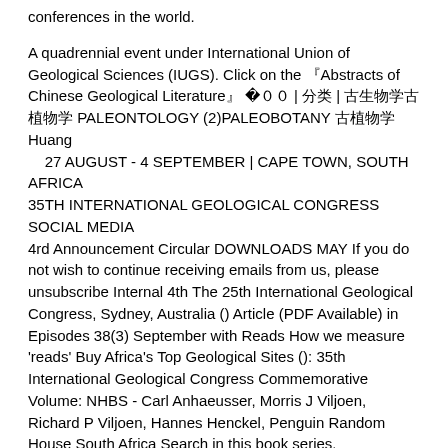conferences in the world.
A quadrennial event under International Union of Geological Sciences (IUGS). Click on the 『Abstracts of Chinese Geological Literature』 ）04００ | 分类 | 古生物学古植物学 PALEONTOLOGY (2)PALEOBOTANY 古植物学 Huang 27 AUGUST - 4 SEPTEMBER | CAPE TOWN, SOUTH AFRICA 35TH INTERNATIONAL GEOLOGICAL CONGRESS SOCIAL MEDIA 4rd Announcement Circular DOWNLOADS MAY If you do not wish to continue receiving emails from us, please unsubscribe Internal 4th The 25th International Geological Congress, Sydney, Australia () Article (PDF Available) in Episodes 38(3) September with Reads How we measure 'reads' Buy Africa's Top Geological Sites (): 35th International Geological Congress Commemorative Volume: NHBS - Carl Anhaeusser, Morris J Viljoen, Richard P Viljoen, Hannes Henckel, Penguin Random House South Africa Search in this book series.
Symposium on Geochemistry of Groundwater 26th International Geological Congress, Paris, Edited by William Back, René Létolle. Vol Pages iv-viii, () Geological Considerations in Hazardous-Waste Disposal. Cartwright, R.H. Gilkeson, T.M.